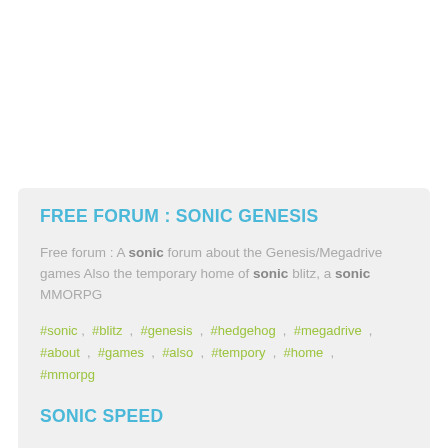FREE FORUM : SONIC GENESIS
Free forum : A sonic forum about the Genesis/Megadrive games Also the temporary home of sonic blitz, a sonic MMORPG
#sonic , #blitz , #genesis , #hedgehog , #megadrive , #about , #games , #also , #tempory , #home , #mmorpg
SONIC SPEED